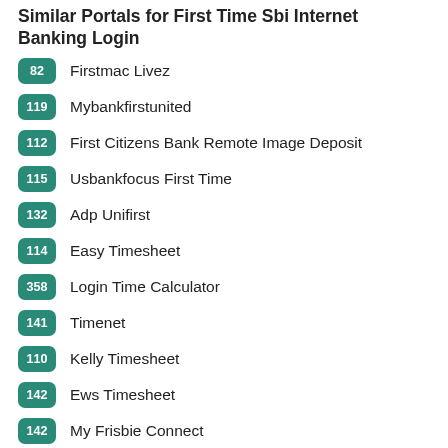Similar Portals for First Time Sbi Internet Banking Login
82 Firstmac Livez
119 Mybankfirstunited
112 First Citizens Bank Remote Image Deposit
115 Usbankfocus First Time
132 Adp Unifirst
114 Easy Timesheet
358 Login Time Calculator
141 Timenet
110 Kelly Timesheet
142 Ews Timesheet
142 My Frisbie Connect
55 Office 365 Sbi
60 Sbi Staff